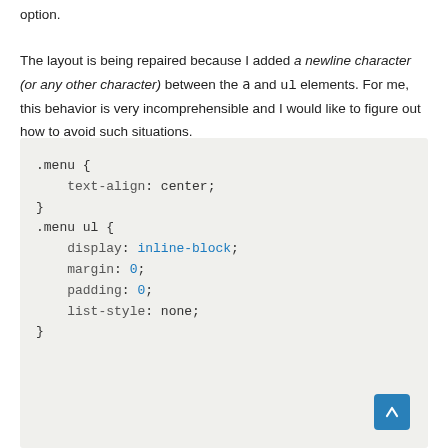option.

The layout is being repaired because I added a newline character (or any other character) between the a and ul elements. For me, this behavior is very incomprehensible and I would like to figure out how to avoid such situations.
[Figure (screenshot): CSS code block showing .menu and .menu ul rules with syntax highlighting on a light gray background]